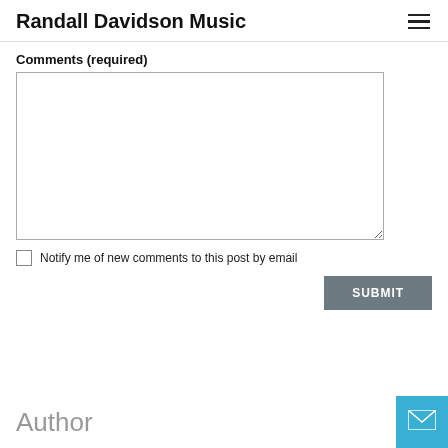Randall Davidson Music
Comments (required)
[Figure (screenshot): Empty textarea form field for comments]
Notify me of new comments to this post by email
SUBMIT
Author